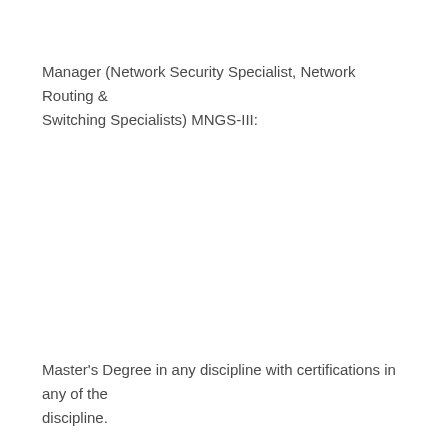Manager (Network Security Specialist, Network Routing & Switching Specialists) MNGS-III:
Master's Degree in any discipline with certifications in any of the discipline.